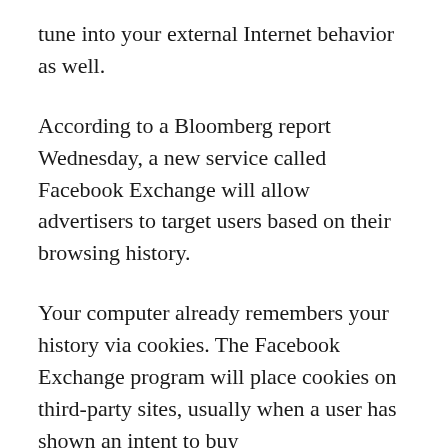tune into your external Internet behavior as well.
According to a Bloomberg report Wednesday, a new service called Facebook Exchange will allow advertisers to target users based on their browsing history.
Your computer already remembers your history via cookies. The Facebook Exchange program will place cookies on third-party sites, usually when a user has shown an intent to buy